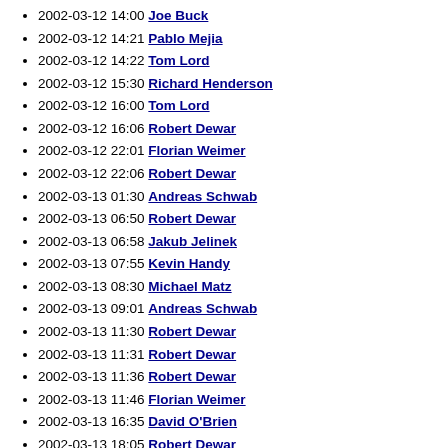2002-03-12 13:48 Robert Dewar
2002-03-12 14:00 Joe Buck
2002-03-12 14:21 Pablo Mejia
2002-03-12 14:22 Tom Lord
2002-03-12 15:30 Richard Henderson
2002-03-12 16:00 Tom Lord
2002-03-12 16:06 Robert Dewar
2002-03-12 22:01 Florian Weimer
2002-03-12 22:06 Robert Dewar
2002-03-13 01:30 Andreas Schwab
2002-03-13 06:50 Robert Dewar
2002-03-13 06:58 Jakub Jelinek
2002-03-13 07:55 Kevin Handy
2002-03-13 08:30 Michael Matz
2002-03-13 09:01 Andreas Schwab
2002-03-13 11:30 Robert Dewar
2002-03-13 11:31 Robert Dewar
2002-03-13 11:36 Robert Dewar
2002-03-13 11:46 Florian Weimer
2002-03-13 16:35 David O'Brien
2002-03-13 18:05 Robert Dewar
2002-03-13 18:07 Robert Dewar
2002-03-13 18:15 Robert Dewar
2002-03-14 18:47 Alexandre Oliva
2002-03-14 21:20 Robert Dewar
2002-03-15 08:17 DJ Delorie